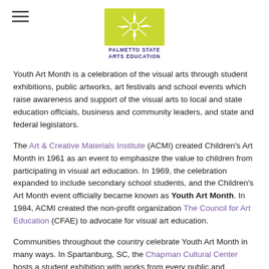[Figure (logo): Palmetto State Arts Education logo — yellow-green starburst/flower shape with white line art, above bold dark purple text reading PALMETTO STATE ARTS EDUCATION]
Youth Art Month is a celebration of the visual arts through student exhibitions, public artworks, art festivals and school events which raise awareness and support of the visual arts to local and state education officials, business and community leaders, and state and federal legislators.
The Art & Creative Materials Institute (ACMI) created Children's Art Month in 1961 as an event to emphasize the value to children from participating in visual art education. In 1969, the celebration expanded to include secondary school students, and the Children's Art Month event officially became known as Youth Art Month. In 1984, ACMI created the non-profit organization The Council for Art Education (CFAE) to advocate for visual art education.
Communities throughout the country celebrate Youth Art Month in many ways. In Spartanburg, SC, the Chapman Cultural Center hosts a student exhibition with works from every public and